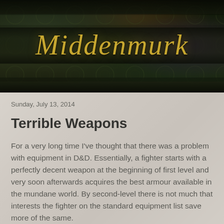[Figure (illustration): Dark medieval-themed blog header image with ornate dark green and brown background featuring decorative patterns. The word 'Middenmurk' is displayed in large golden italic blackletter/gothic script centered on the image.]
Sunday, July 13, 2014
Terrible Weapons
For a very long time I've thought that there was a problem with equipment in D&D. Essentially, a fighter starts with a perfectly decent weapon at the beginning of first level and very soon afterwards acquires the best armour available in the mundane world. By second-level there is not much that interests the fighter on the standard equipment list save more of the same.